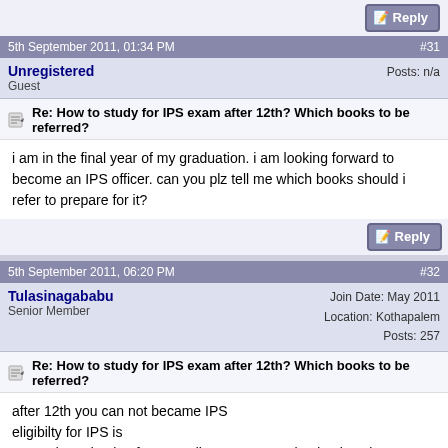[Figure (other): Reply button at top right]
5th September 2011, 01:34 PM   #31
Unregistered
Guest
Posts: n/a
Re: How to study for IPS exam after 12th? Which books to be referred?
i am in the final year of my graduation. i am looking forward to become an IPS officer. can you plz tell me which books should i refer to prepare for it?
[Figure (other): Reply button]
5th September 2011, 06:20 PM   #32
Tulasinagababu
Senior Member
Join Date: May 2011
Location: Kothapalem
Posts: 257
Re: How to study for IPS exam after 12th? Which books to be referred?
after 12th you can not became IPS
eligibilty for IPS is
Passed Graduation from a Indian govt recognized university or College
Age: 21 to 30 years for Gen category
3 year relaxation for OBC
and 5 yr relaxation for SC/ST in upper age
No. of attempts:
General Candidates: 4